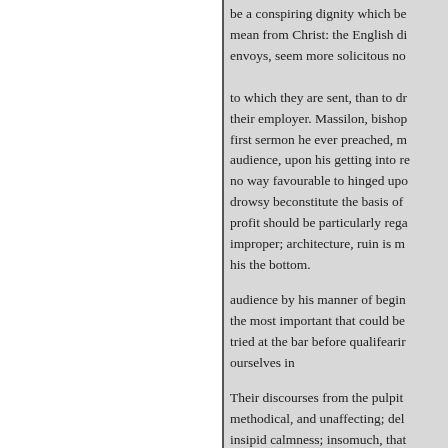be a conspiring dignity which be mean from Christ: the English di envoys, seem more solicitous no to which they are sent, than to dr their employer. Massilon, bishop first sermon he ever preached, m audience, upon his getting into re no way favourable to hinged upo drowsy beconstitute the basis of profit should be particularly rega improper; architecture, ruin is m his the bottom.
audience by his manner of begin the most important that could be tried at the bar before qualifearir ourselves in
Their discourses from the pulpit methodical, and unaffecting; del insipid calmness; insomuch, that preacher lift his head over the cu seems to address, he might disco instead of being awakened to re-